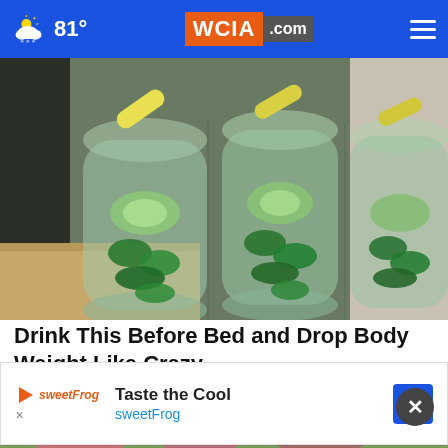81° WCIA.com
[Figure (photo): Three large glass bottles filled with water, cucumber slices, mint leaves, and lemon wedges, arranged on a kitchen counter]
Drink This Before Bed and Drop Body Weight Like Crazy
Health
[Figure (photo): Partial view of a floral/outdoor background image at the bottom of page, partially obscured by advertisement banner]
[Figure (infographic): Advertisement banner: sweetFrog 'Taste the Cool' promotional ad with logo and navigation arrow]